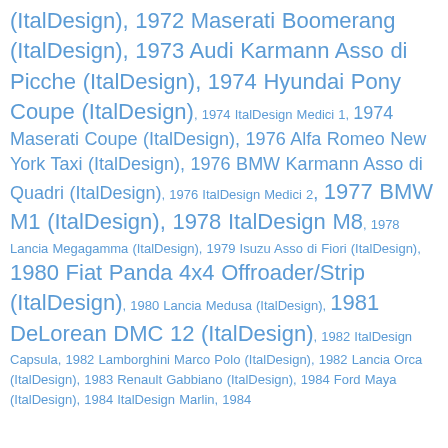(ItalDesign), 1972 Maserati Boomerang (ItalDesign), 1973 Audi Karmann Asso di Picche (ItalDesign), 1974 Hyundai Pony Coupe (ItalDesign), 1974 ItalDesign Medici 1, 1974 Maserati Coupe (ItalDesign), 1976 Alfa Romeo New York Taxi (ItalDesign), 1976 BMW Karmann Asso di Quadri (ItalDesign), 1976 ItalDesign Medici 2, 1977 BMW M1 (ItalDesign), 1978 ItalDesign M8, 1978 Lancia Megagamma (ItalDesign), 1979 Isuzu Asso di Fiori (ItalDesign), 1980 Fiat Panda 4x4 Offroader/Strip (ItalDesign), 1980 Lancia Medusa (ItalDesign), 1981 DeLorean DMC 12 (ItalDesign), 1982 ItalDesign Capsula, 1982 Lamborghini Marco Polo (ItalDesign), 1982 Lancia Orca (ItalDesign), 1983 Renault Gabbiano (ItalDesign), 1984 Ford Maya (ItalDesign), 1984 ItalDesign Marlin, 1984